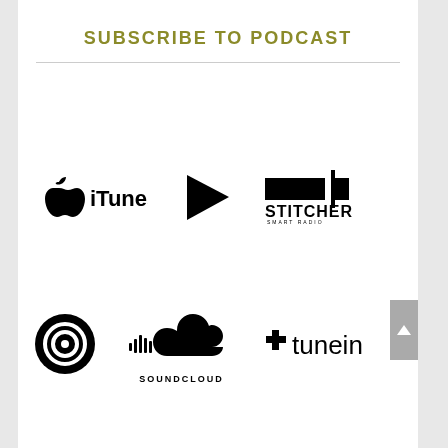SUBSCRIBE TO PODCAST
[Figure (logo): iTunes logo with Apple icon and text 'iTunes']
[Figure (logo): Play button triangle icon (Google Play or similar)]
[Figure (logo): Stitcher Smart Radio logo]
[Figure (logo): Pocket Casts circular logo]
[Figure (logo): SoundCloud logo with cloud and sound waves, text SOUNDCLOUD]
[Figure (logo): TuneIn logo with plus icon and text 'tunein']